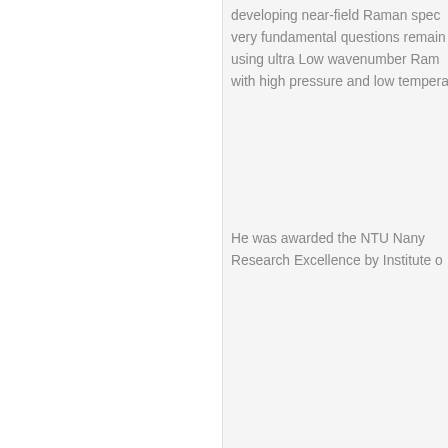developing near-field Raman spec very fundamental questions remain using ultra Low wavenumber Ram with high pressure and low tempera
He was awarded the NTU Nany Research Excellence by Institute o
About Us | Conta
Copyright © 2015 ██████████ | Center for High Press
█████ 1101080